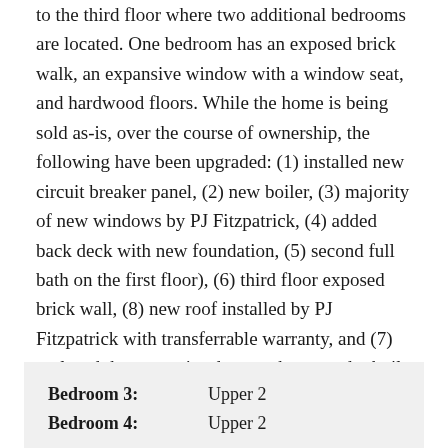to the third floor where two additional bedrooms are located. One bedroom has an exposed brick walk, an expansive window with a window seat, and hardwood floors. While the home is being sold as-is, over the course of ownership, the following have been upgraded: (1) installed new circuit breaker panel, (2) new boiler, (3) majority of new windows by PJ Fitzpatrick, (4) added back deck with new foundation, (5) second full bath on the first floor), (6) third floor exposed brick wall, (8) new roof installed by PJ Fitzpatrick with transferrable warranty, and (7) replaced three exterior doors to home and rebuilt basement steps leading to exterior. With some additional renovations, this home can be a gem in Trolley Square. One block from the Acme, near the bus stop, and easy access to downtown, I-95, RT 202, and Greenville, this home has much to offer.
| Bedroom 3: | Upper 2 |
| Bedroom 4: | Upper 2 |